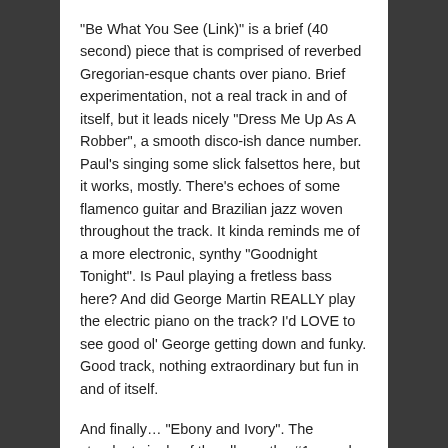“Be What You See (Link)” is a brief (40 second) piece that is comprised of reverbed Gregorian-esque chants over piano. Brief experimentation, not a real track in and of itself, but it leads nicely “Dress Me Up As A Robber”, a smooth disco-ish dance number. Paul’s singing some slick falsettos here, but it works, mostly. There’s echoes of some flamenco guitar and Brazilian jazz woven throughout the track. It kinda reminds me of a more electronic, synthy “Goodnight Tonight”. Is Paul playing a fretless bass here? And did George Martin REALLY play the electric piano on the track? I’d LOVE to see good ol’ George getting down and funky. Good track, nothing extraordinary but fun in and of itself.
And finally… “Ebony and Ivory”. The standout single of the album, the #1 smash, Paul’s second duet with Stevie Wonder. Lovingly embraced by the public at the time, jeered, derided, and endlessly mocked by the critical establishment. But, perhaps because of nostalgic attachment, I like the song. Painfully...